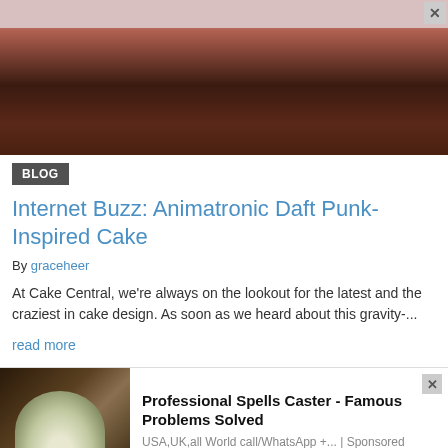[Figure (photo): Dark atmospheric photo showing figures in warm red/orange lighting, appears to be a concert or performance setting with Daft Punk-inspired imagery]
BLOG
Internet Buzz: Animatronic Daft Punk-Inspired Cake
By graceheer
At Cake Central, we're always on the lookout for the latest and the craziest in cake design. As soon as we heard about this gravity-...
read more
[Figure (photo): Advertisement image showing a person holding a white flower bouquet against dark background]
Professional Spells Caster - Famous Problems Solved
USA,UK,all World call/WhatsApp +... | Sponsored